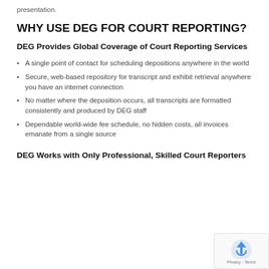presentation.
WHY USE DEG FOR COURT REPORTING?
DEG Provides Global Coverage of Court Reporting Services
A single point of contact for scheduling depositions anywhere in the world
Secure, web-based repository for transcript and exhibit retrieval anywhere you have an internet connection
No matter where the deposition occurs, all transcripts are formatted consistently and produced by DEG staff
Dependable world-wide fee schedule, no hidden costs, all invoices emanate from a single source
DEG Works with Only Professional, Skilled Court Reporters
[Figure (logo): reCAPTCHA privacy badge with blue arrow icon and Privacy - Terms text]